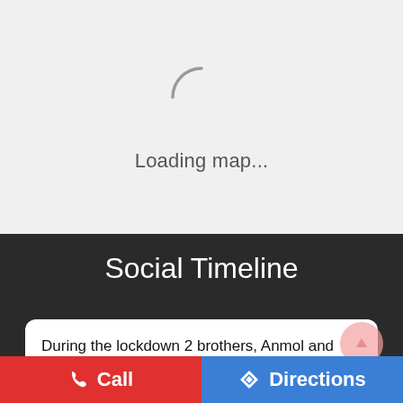[Figure (screenshot): A loading map area with a spinner arc and 'Loading map...' text on a light gray background.]
Loading map...
Social Timeline
During the lockdown 2 brothers, Anmol and Munna, took classes in their village in Gondia, Maharashtra. But when they moved away, the kids were left with no teacher. How did they connect with their students
Call   Directions